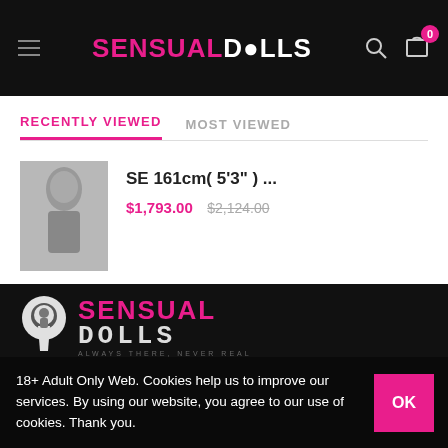SENSUAL DOLLS — navigation header with hamburger menu, logo, search icon, and cart with 0 items
RECENTLY VIEWED
MOST VIEWED
SE 161cm( 5'3" ) ...
$1,793.00 $2,124.00
[Figure (photo): Product thumbnail image of a doll]
[Figure (logo): SENSUAL DOLLS footer logo in pink and white]
18+ Adult Only Web. Cookies help us to improve our services. By using our website, you agree to our use of cookies. Thank you.